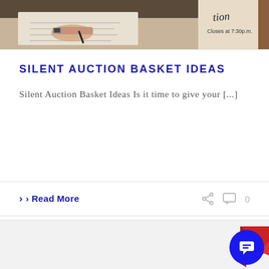[Figure (photo): Photo of hands writing at a silent auction table with a sign reading 'Closes at 7:30p.m.']
SILENT AUCTION BASKET IDEAS
Silent Auction Basket Ideas Is it time to give your [...]
› Read More
[Figure (photo): Partial bottom card showing a red 3D arrow/bookmark shape with a blue chat bubble widget in the corner]